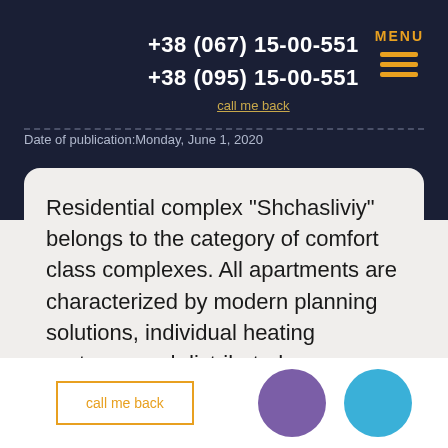+38 (067) 15-00-551
+38 (095) 15-00-551
call me back
MENU
Date of publication:Monday, June 1, 2020
Residential complex “Shchasliviy” belongs to the category of comfort class complexes. All apartments are characterized by modern planning solutions, individual heating systems, and distributed communications. You can buy them here for any budget and
call me back